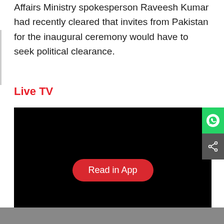Affairs Ministry spokesperson Raveesh Kumar had recently cleared that invites from Pakistan for the inaugural ceremony would have to seek political clearance.
Live TV
[Figure (screenshot): Black video player area with a red 'Read in App' button centered, WhatsApp share icon on the right side, and a share icon below it]